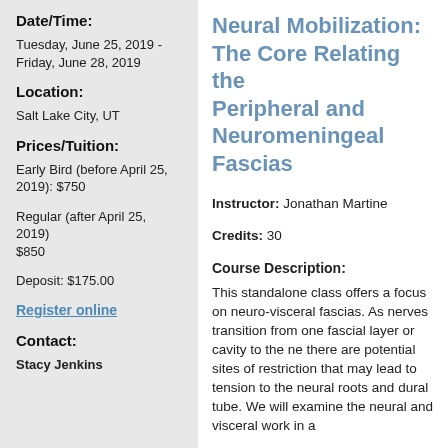Date/Time:
Tuesday, June 25, 2019 - Friday, June 28, 2019
Location:
Salt Lake City, UT
Prices/Tuition:
Early Bird (before April 25, 2019): $750
Regular (after April 25, 2019) $850
Deposit: $175.00
Register online
Contact:
Stacy Jenkins
Neural Mobilization: The Core Relating the Peripheral and Neuromeningeal Fascias
Instructor: Jonathan Martine
Credits: 30
Course Description:
This standalone class offers a focus on neuro-visceral fascias. As nerves transition from one fascial layer or cavity to the ne there are potential sites of restriction that may lead to tension to the neural roots and dural tube. We will examine the neural and visceral work in a